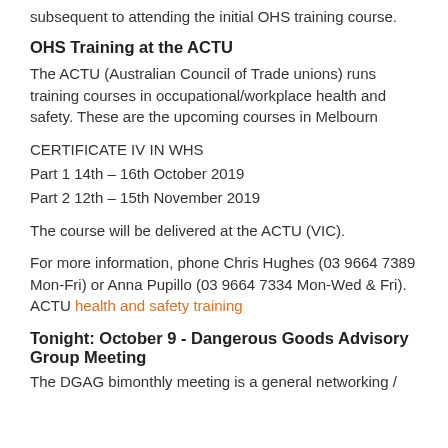subsequent to attending the initial OHS training course.
OHS Training at the ACTU
The ACTU (Australian Council of Trade unions) runs training courses in occupational/workplace health and safety. These are the upcoming courses in Melbourn
CERTIFICATE IV IN WHS
Part 1 14th – 16th October 2019
Part 2 12th – 15th November 2019
The course will be delivered at the ACTU (VIC).
For more information, phone Chris Hughes (03 9664 7389 Mon-Fri) or Anna Pupillo (03 9664 7334 Mon-Wed & Fri). ACTU health and safety training
Tonight: October 9 - Dangerous Goods Advisory Group Meeting
The DGAG bimonthly meeting is a general networking /